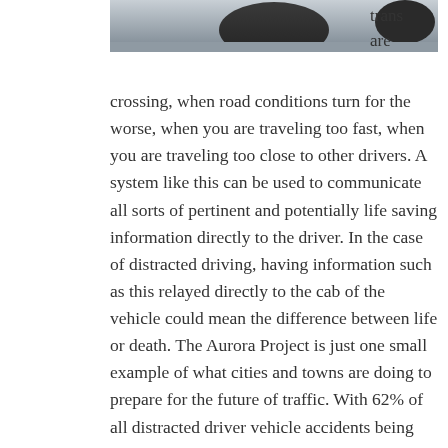[Figure (photo): Partial photo showing a dark rounded object (possibly a vehicle or person) against a light background, cropped at top of page]
trans are crossing, when road conditions turn for the worse, when you are traveling too fast, when you are traveling too close to other drivers. A system like this can be used to communicate all sorts of pertinent and potentially life saving information directly to the driver. In the case of distracted driving, having information such as this relayed directly to the cab of the vehicle could mean the difference between life or death. The Aurora Project is just one small example of what cities and towns are doing to prepare for the future of traffic. With 62% of all distracted driver vehicle accidents being attributed to the mind wandering, keeping people’s minds engaged in driving will surely lower the rate of incidents. Until smart technologies arrives, and is readily available for all, there are many things we can do as motorists to do our part and reduce the